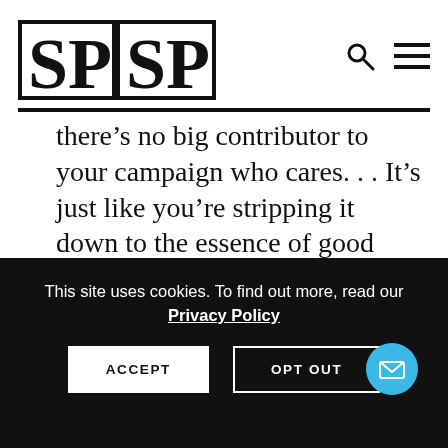[Figure (logo): SPSP logo — two side-by-side boxes each containing letters 'SP' in bold serif, forming SPSP]
there’s no big contributor to your campaign who cares. . . It’s just like you’re stripping it down to the essence of good government. . . I think you have . . . much more ability to govern in sort of an evidence-
This site uses cookies. To find out more, read our Privacy Policy
ACCEPT
OPT OUT